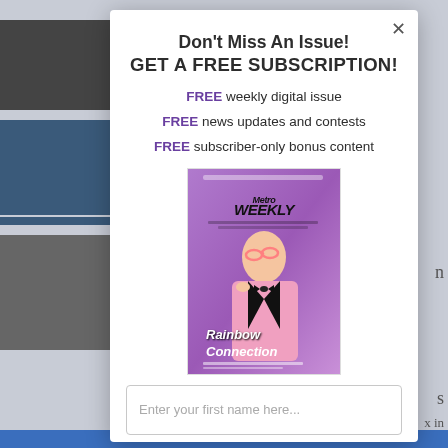[Figure (screenshot): Website screenshot showing a subscription popup modal over a content page with thumbnail images on the left]
Don't Miss An Issue!
GET A FREE SUBSCRIPTION!
FREE weekly digital issue
FREE news updates and contests
FREE subscriber-only bonus content
[Figure (photo): Metro Weekly magazine cover showing a man in a pink tuxedo holding pink glasses, with text 'Rainbow Connection']
Enter your first name here...
Enter your email here...